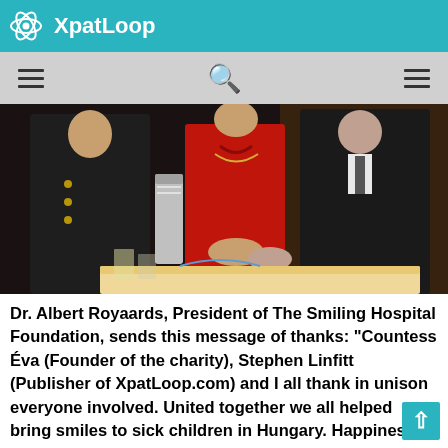XpatLoop
[Figure (photo): Photo of people cutting a cake at an event. A woman in red dress is in the center, flanked by two men in dark suits. There is a silver cylindrical object on the left side and a cake visible at the bottom.]
Dr. Albert Royaards, President of The Smiling Hospital Foundation, sends this message of thanks: “Countess Éva (Founder of the charity), Stephen Linfitt (Publisher of XpatLoop.com) and I all thank in unison everyone involved. United together we all helped bring smiles to sick children in Hungary. Happiness Helps Healing is